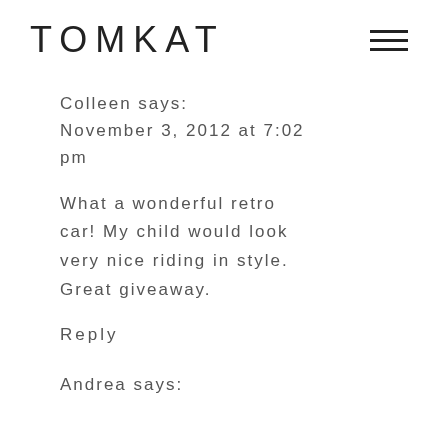TOMKAT
Colleen says:
November 3, 2012 at 7:02 pm
What a wonderful retro car! My child would look very nice riding in style. Great giveaway.
Reply
Andrea says: